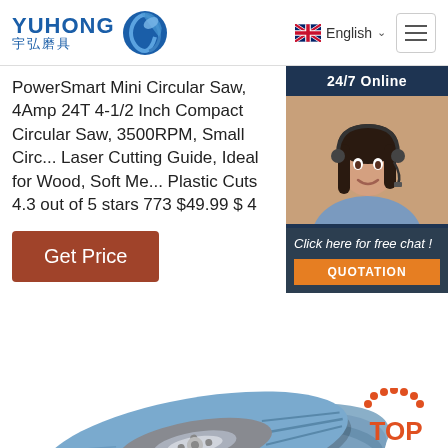YUHONG 宇弘磨具 — English
PowerSmart Mini Circular Saw, 4Amp 24T 4-1/2 Inch Compact Circular Saw, 3500RPM, Small Circular Saw with Laser Cutting Guide, Ideal for Wood, Soft Metal, Tile and Plastic Cuts 4.3 out of 5 stars 773 $49.99 $ 4
Get Price
[Figure (photo): Customer service representative with headset, 24/7 Online chat widget with QUOTATION button]
[Figure (photo): Blue flap disc / grinding wheel product photo, close-up showing abrasive flaps and center hub]
TOP